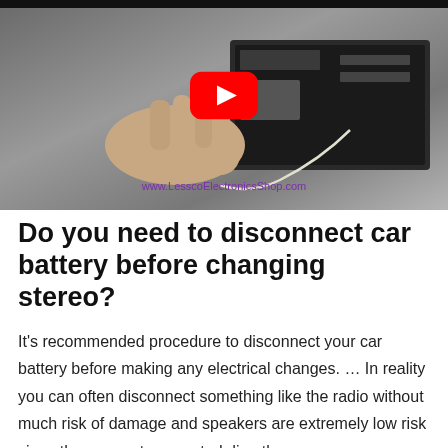[Figure (screenshot): YouTube video thumbnail showing hands working on a car stereo/radio unit being removed from a dashboard. A YouTube play button (red rectangle with white triangle) is overlaid in the upper center. Watermark text 'www.LesscoElectronicsShop.com' appears in purple at the bottom center of the image.]
Do you need to disconnect car battery before changing stereo?
It's recommended procedure to disconnect your car battery before making any electrical changes. … In reality you can often disconnect something like the radio without much risk of damage and speakers are extremely low risk since they are not connected directly